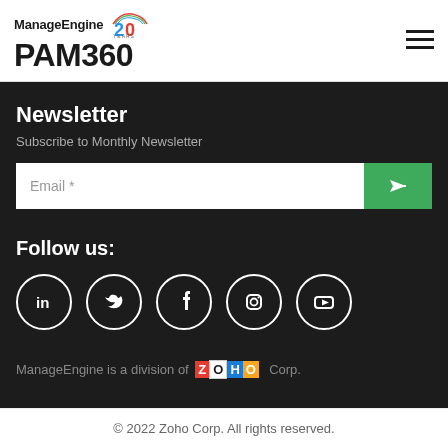ManageEngine PAM360
Newsletter
Subscribe to Monthly Newsletter
Email *
Follow us:
[Figure (other): Social media icons: LinkedIn, Twitter, Facebook, Instagram, YouTube — white circles on dark background]
ManageEngine is a division of ZOHO Corp.
© 2022 Zoho Corp. All rights reserved.